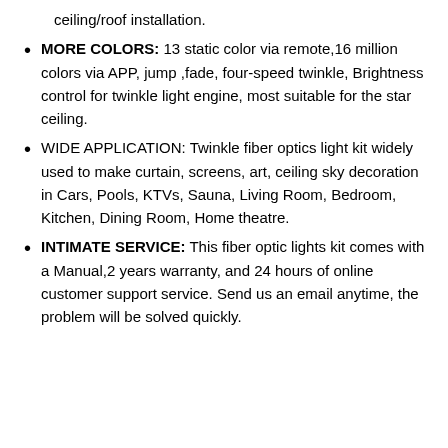ceiling/roof installation.
MORE COLORS: 13 static color via remote,16 million colors via APP, jump ,fade, four-speed twinkle, Brightness control for twinkle light engine, most suitable for the star ceiling.
WIDE APPLICATION: Twinkle fiber optics light kit widely used to make curtain, screens, art, ceiling sky decoration in Cars, Pools, KTVs, Sauna, Living Room, Bedroom, Kitchen, Dining Room, Home theatre.
INTIMATE SERVICE: This fiber optic lights kit comes with a Manual,2 years warranty, and 24 hours of online customer support service. Send us an email anytime, the problem will be solved quickly.